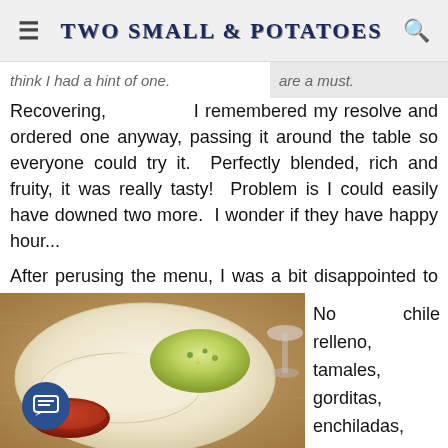TWO SMALL POTATOES
think I had a hint of one. are a must.
Recovering, I remembered my resolve and ordered one anyway, passing it around the table so everyone could try it. Perfectly blended, rich and fruity, it was really tasty! Problem is I could easily have downed two more. I wonder if they have happy hour...

After perusing the menu, I was a bit disappointed to see that it was quite limited.
[Figure (photo): A plate of food with rice and what appears to be quesadillas or crepes, with a small bowl of red sauce, set on a wooden table with a wine glass visible in the background.]
No chile relleno, tamales, gorditas, enchiladas,